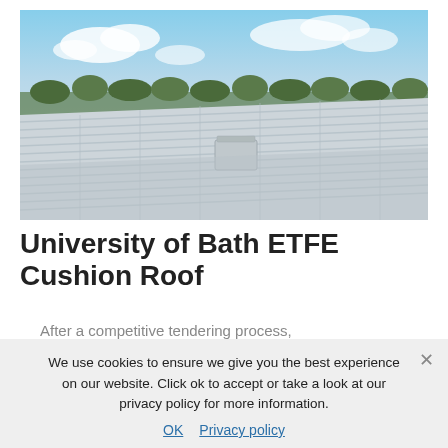[Figure (photo): Outdoor photograph of a building roof covered with white ETFE cushion panels stretching into the distance, with blue sky and trees in the background and an HVAC unit visible on the rooftop.]
University of Bath ETFE Cushion Roof
After a competitive tendering process, Architen Landrell were contracted to provide a 3 layer ETFE...
We use cookies to ensure we give you the best experience on our website. Click ok to accept or take a look at our privacy policy for more information.